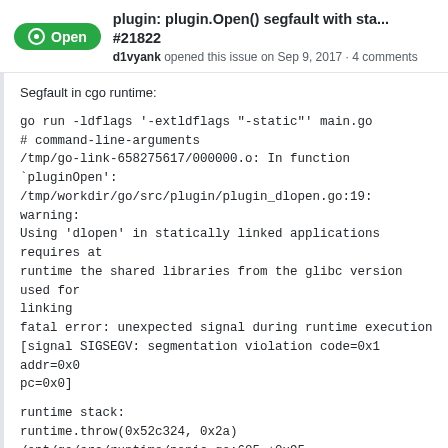plugin: plugin.Open() segfault with sta... #21822
d1vyank opened this issue on Sep 9, 2017 · 4 comments
Segfault in cgo runtime:

go run -ldflags '-extldflags "-static"' main.go
# command-line-arguments
/tmp/go-link-658275617/000000.o: In function `pluginOpen':
/tmp/workdir/go/src/plugin/plugin_dlopen.go:19: warning: Using 'dlopen' in statically linked applications requires at runtime the shared libraries from the glibc version used for linking
fatal error: unexpected signal during runtime execution
[signal SIGSEGV: segmentation violation code=0x1 addr=0x0 pc=0x0]

runtime stack:
runtime.throw(0x52c324, 0x2a)
/opt/go/src/runtime/panic.go:605 +0x95
runtime.sigpanic()
/opt/go/src/runtime/signal_unix.go:351 +0x2b8